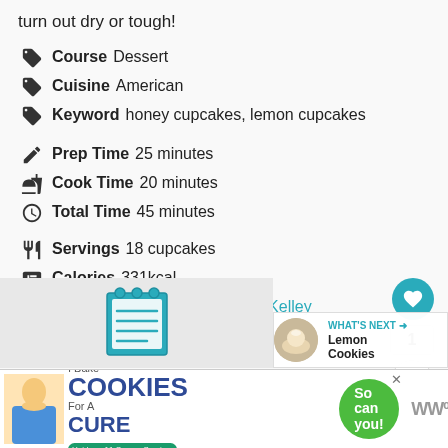turn out dry or tough!
Course  Dessert
Cuisine  American
Keyword  honey cupcakes, lemon cupcakes
Prep Time  25 minutes
Cook Time  20 minutes
Total Time  45 minutes
Servings  18 cupcakes
Calories  331kcal
Author  Longbourn Farm • Alli Kelley
[Figure (illustration): Notepad/recipe icon in teal color]
[Figure (photo): What's Next promotional panel showing Lemon Cookies with food image thumbnail]
[Figure (infographic): I Bake Cookies For A Cure advertisement banner with green circle and cookies for kids cancer logo]